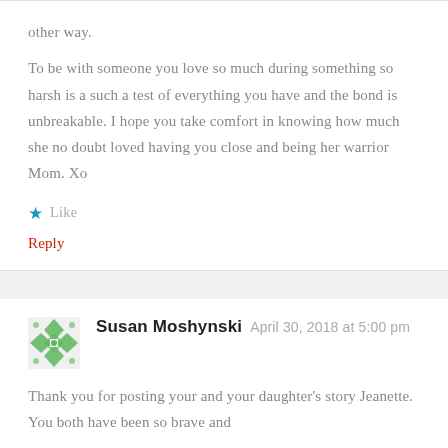other way.
To be with someone you love so much during something so harsh is a such a test of everything you have and the bond is unbreakable. I hope you take comfort in knowing how much she no doubt loved having you close and being her warrior Mom. Xo
★ Like
Reply
Susan Moshynski   April 30, 2018 at 5:00 pm
Thank you for posting your and your daughter's story Jeanette. You both have been so brave and